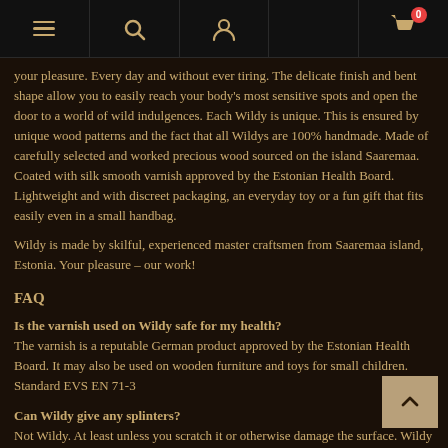Navigation bar with menu, search, user, and cart icons
your pleasure. Every day and without ever tiring. The delicate finish and bent shape allow you to easily reach your body's most sensitive spots and open the door to a world of wild indulgences. Each Wildy is unique. This is ensured by unique wood patterns and the fact that all Wildys are 100% handmade. Made of carefully selected and worked precious wood sourced on the island Saaremaa. Coated with silk smooth varnish approved by the Estonian Health Board. Lightweight and with discreet packaging, an everyday toy or a fun gift that fits easily even in a small handbag.
Wildy is made by skilful, experienced master craftsmen from Saaremaa island, Estonia. Your pleasure – our work!
FAQ
Is the varnish used on Wildy safe for my health?
The varnish is a reputable German product approved by the Estonian Health Board. It may also be used on wooden furniture and toys for small children. Standard EVS EN 71-3
Can Wildy give any splinters?
Not Wildy. At least unless you scratch it or otherwise damage the surface. Wildy has been sanded with extreme care and coated with 4